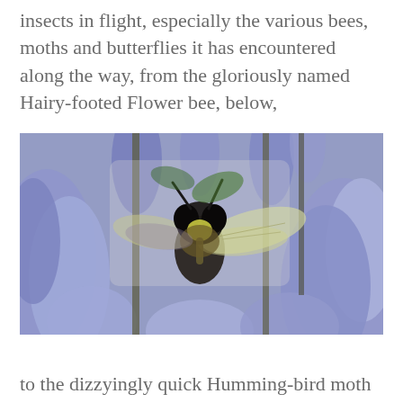insects in flight, especially the various bees, moths and butterflies it has encountered along the way, from the gloriously named Hairy-footed Flower bee, below,
[Figure (photo): Close-up photograph of a bee (Hairy-footed Flower bee) in flight among blue/purple bluebell flowers. The bee is facing the camera with wings spread, large dark eyes visible, and yellow-green coloring on its face/thorax. The background shows multiple blue bell-shaped flowers.]
to the dizzyingly quick Humming-bird moth